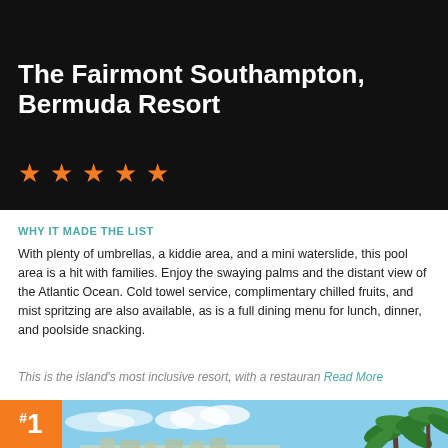The Fairmont Southampton, Bermuda Resort
[Figure (illustration): Five orange star rating icons on black background]
WHY IT MADE THE LIST
With plenty of umbrellas, a kiddie area, and a mini waterslide, this pool area is a hit with families. Enjoy the swaying palms and the distant view of the Atlantic Ocean. Cold towel service, complimentary chilled fruits, and mist spritzing are also available, as is a full dining menu for lunch, dinner, and poolside snacking.
This is the island's most inclusive resort, with a restauran Read More
[Figure (photo): Waterfront resort photo with palm trees and beach scenery, with orange badge showing #1 in bottom left]